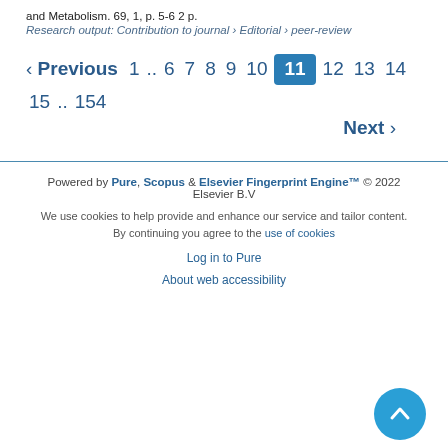and Metabolism. 69, 1, p. 5-6 2 p.
Research output: Contribution to journal › Editorial › peer-review
‹ Previous  1 .. 6 7 8 9 10  11  12 13 14 15 .. 154  Next ›
Powered by Pure, Scopus & Elsevier Fingerprint Engine™ © 2022 Elsevier B.V
We use cookies to help provide and enhance our service and tailor content. By continuing you agree to the use of cookies
Log in to Pure
About web accessibility